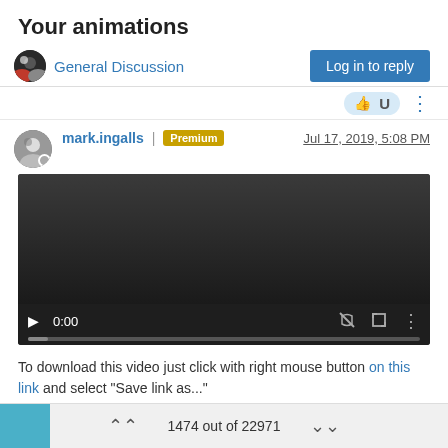Your animations
General Discussion
Log in to reply
mark.ingalls | Premium    Jul 17, 2019, 5:08 PM
[Figure (screenshot): Embedded video player showing 0:00 timecode with play, mute, fullscreen, and options controls on a dark background with a progress bar.]
To download this video just click with right mouse button on this link and select "Save link as..."
1474 out of 22971